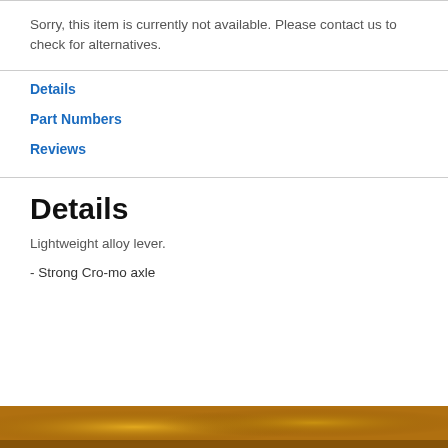Sorry, this item is currently not available. Please contact us to check for alternatives.
Details
Part Numbers
Reviews
Details
Lightweight alloy lever.
- Strong Cro-mo axle
[Figure (photo): Golden/brown textured background image at the bottom of the page]